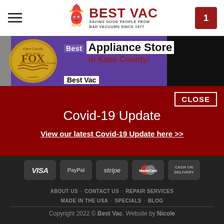BEST VAC — SAVING GOOD PEOPLE FROM BAD VACUUMS SINCE 1977
[Figure (photo): Award banner showing Kane County Fox Valley Best Appliance Store in Kane County award badge on purple background]
Best Appliance Store in Kane County!
Covid-19 Update
View our latest Covid-19 Update here >>
[Figure (logo): Payment method icons: VISA, PayPal, stripe, MasterCard, Cash on Delivery]
ABOUT US   CONTACT US   REPAIR SERVICES   MADE IN THE USA   SPECIALS   BLOG
Copyright 2022 © Best Vac. Website by Nicole